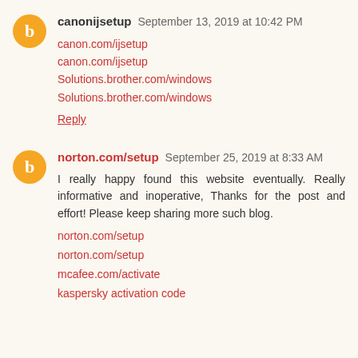canonijsetup  September 13, 2019 at 10:42 PM
canon.com/ijsetup
canon.com/ijsetup
Solutions.brother.com/windows
Solutions.brother.com/windows
Reply
norton.com/setup  September 25, 2019 at 8:33 AM
I really happy found this website eventually. Really informative and inoperative, Thanks for the post and effort! Please keep sharing more such blog.
norton.com/setup
norton.com/setup
mcafee.com/activate
kaspersky activation code